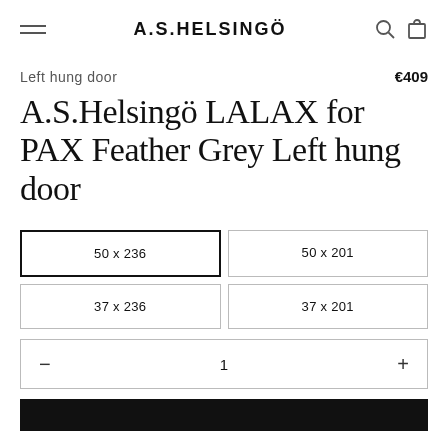A.S.HELSINGÖ
Left hung door   €409
A.S.Helsingö LALAX for PAX Feather Grey Left hung door
50 x 236 | 50 x 201 | 37 x 236 | 37 x 201
- 1 +